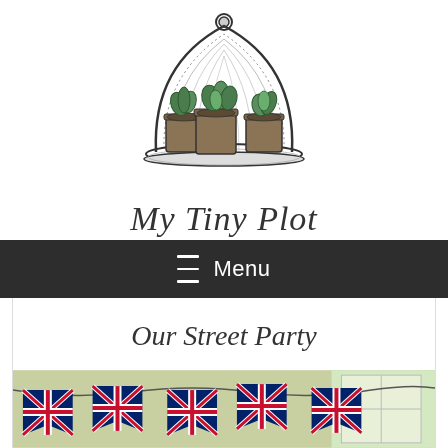[Figure (logo): My Tiny Plot logo: a glass cloche dome over three potted plants on a tray, with cursive text 'My Tiny Plot' below]
≡ Menu
Our Street Party
[Figure (photo): Photo of Union Jack bunting flags hanging indoors, with blurred background of a room]